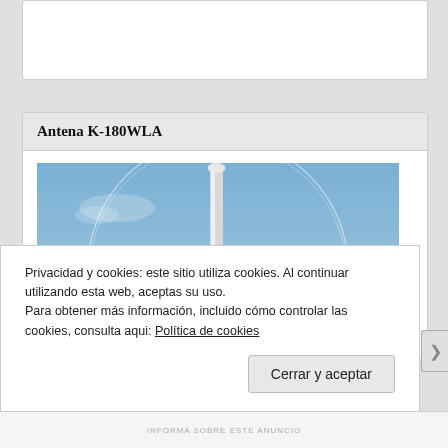Antena K-180WLA
[Figure (photo): Photograph of the K-180WLA antenna: a tall white vertical pole/mast mounted outdoors against a clear blue sky, with a large circular loop element visible around the mast.]
Privacidad y cookies: este sitio utiliza cookies. Al continuar utilizando esta web, aceptas su uso.
Para obtener más información, incluido cómo controlar las cookies, consulta aqui: Política de cookies
Cerrar y aceptar